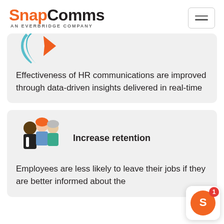SnapComms AN EVERBRIDGE COMPANY
[Figure (illustration): Partial view of a map/location icon illustration at the top of a card]
Effectiveness of HR communications are improved through data-driven insights delivered in real-time
[Figure (illustration): Three people illustration: woman with orange hair, man in suit, older woman in teal]
Increase retention
Employees are less likely to leave their jobs if they are better informed about the